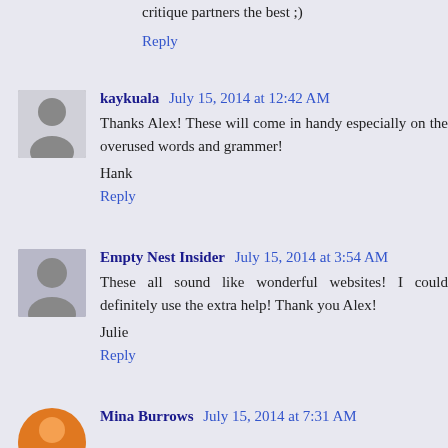critique partners the best ;)
Reply
kaykuala July 15, 2014 at 12:42 AM
Thanks Alex! These will come in handy especially on the overused words and grammer!
Hank
Reply
Empty Nest Insider July 15, 2014 at 3:54 AM
These all sound like wonderful websites! I could definitely use the extra help! Thank you Alex!
Julie
Reply
Mina Burrows July 15, 2014 at 7:31 AM